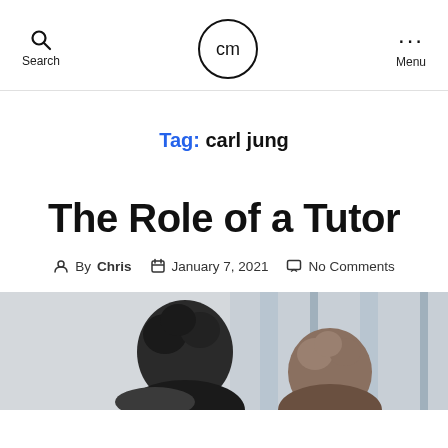Search  cm  Menu
Tag: carl jung
The Role of a Tutor
By Chris  January 7, 2021  No Comments
[Figure (photo): Two people from behind, a tutoring session, one with dark curly hair and one with lighter curly hair, indoors]